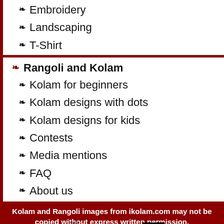Embroidery
Landscaping
T-Shirt
Rangoli and Kolam
Kolam for beginners
Kolam designs with dots
Kolam designs for kids
Contests
Media mentions
FAQ
About us
Kolam and Rangoli images from ikolam.com may not be copied without express written permission.
[Figure (other): Copyscape page protection badge: PAGE PROTECTED BY COPYSCAPE DO NOT COPY]
© 2022 iKolam.com All rights reserved
About iKolam.com | Privacy Policy | Terms of Use |